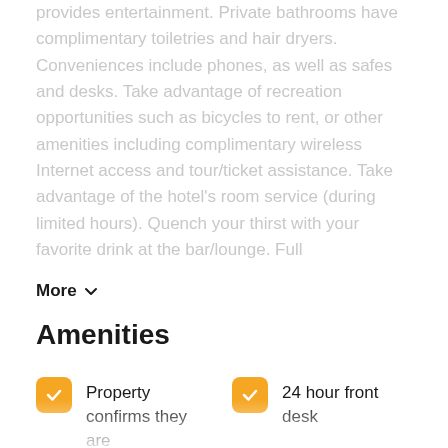provides entertainment. Private bathrooms have complimentary toiletries and hair dryers. Conveniences include phones, as well as safes and desks. Take advantage of recreation opportunities such as bicycles to rent, or other amenities including complimentary wireless Internet access and tour/ticket assistance. Take advantage of the hotel's room service (during limited hours). Quench your thirst with your favorite drink at the bar/lounge. Full
More
Amenities
Property confirms they are implementing enhanced health & safety measures
24 hour front desk
Commonly-touched surfaces are
Property is cleaned with disinfectant